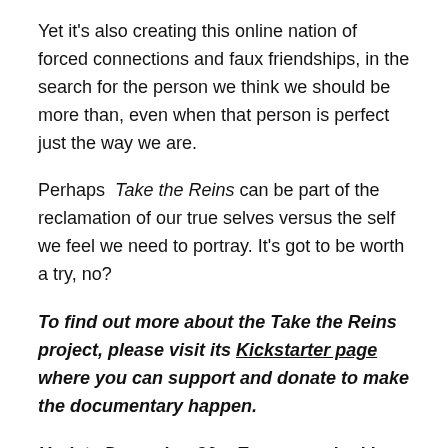Yet it's also creating this online nation of forced connections and faux friendships, in the search for the person we think we should be more than, even when that person is perfect just the way we are.
Perhaps Take the Reins can be part of the reclamation of our true selves versus the self we feel we need to portray. It's got to be worth a try, no?
To find out more about the Take the Reins project, please visit its Kickstarter page where you can support and donate to make the documentary happen.
Update December 30 – Emma reached her goal of $15,000 and her project will be funded.